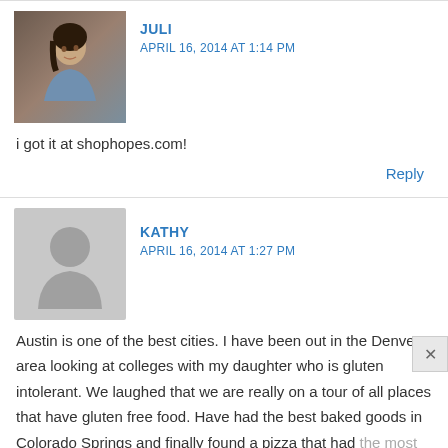[Figure (photo): Avatar photo of Juli — woman with dark hair in a cafe setting]
JULI
APRIL 16, 2014 AT 1:14 PM
i got it at shophopes.com!
Reply
[Figure (illustration): Generic grey avatar silhouette for Kathy]
KATHY
APRIL 16, 2014 AT 1:27 PM
Austin is one of the best cities. I have been out in the Denver area looking at colleges with my daughter who is gluten intolerant. We laughed that we are really on a tour of all places that have gluten free food. Have had the best baked goods in Colorado Springs and finally found a pizza that had the most amazing crust we have experienced so far at Marcos.If I was an organised person I would have asked you